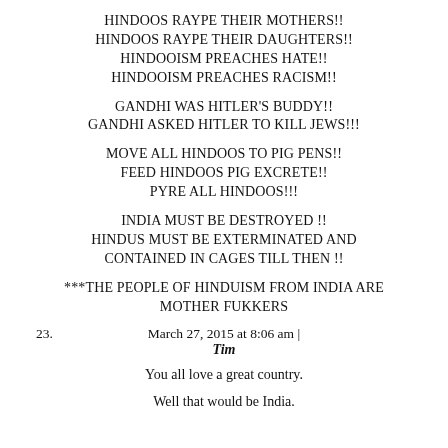HINDOOS RAYPE THEIR MOTHERS!! HINDOOS RAYPE THEIR DAUGHTERS!! HINDOOISM PREACHES HATE!! HINDOOISM PREACHES RACISM!!
GANDHI WAS HITLER'S BUDDY!! GANDHI ASKED HITLER TO KILL JEWS!!!
MOVE ALL HINDOOS TO PIG PENS!! FEED HINDOOS PIG EXCRETE!! PYRE ALL HINDOOS!!!
INDIA MUST BE DESTROYED !! HINDUS MUST BE EXTERMINATED AND CONTAINED IN CAGES TILL THEN !!
***THE PEOPLE OF HINDUISM FROM INDIA ARE MOTHER FUKKERS
March 27, 2015 at 8:06 am |
23.
Tim
You all love a great country.
Well that would be India.